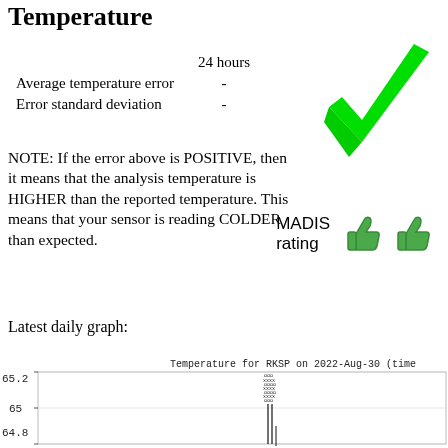Temperature
|  | 24 hours |
| --- | --- |
| Average temperature error | - |
| Error standard deviation | - |
[Figure (illustration): Large green checkmark icon]
NOTE: If the error above is POSITIVE, then it means that the analysis temperature is HIGHER than the reported temperature. This means that your sensor is reading COLDER than expected.
[Figure (illustration): MADIS rating with two green thumbs up icons]
Latest daily graph:
[Figure (continuous-plot): Temperature for RKSP on 2022-Aug-30 (time on x-axis). Y-axis shows values around 64.8 to 65.2. A dense cluster of data points appears around the 65.0-65.2 range with some vertical lines dropping toward 64.8.]